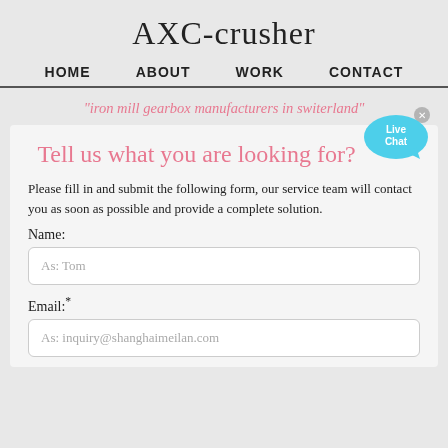AXC-crusher
HOME   ABOUT   WORK   CONTACT
"iron mill gearbox manufacturers in switerland"
[Figure (illustration): Live Chat speech bubble icon in cyan/blue with 'Live Chat' text and a small X close button]
Tell us what you are looking for?
Please fill in and submit the following form, our service team will contact you as soon as possible and provide a complete solution.
Name:
As: Tom
Email:*
As: inquiry@shanghaimeilan.com